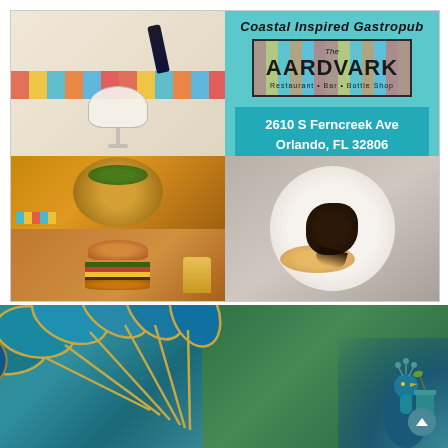[Figure (photo): Top collage with four quadrants: (1) cocktail drink with striped background, (2) The Aardvark restaurant branding with 'Coastal Inspired Gastropub' text and address, (3) food bowl with herbs and a burger with fries, (4) octopus dish on a white plate]
Coastal Inspired Gastropub
The AARDVARK
Restaurant • Bar • Bottle Shop
2610 S Ferncreek Ave
Orlando, FL 32806
[Figure (photo): Close-up of teal/blue decorative spoons with gold edges arranged in a fan pattern against a green blurred background, with a peacock figurine holding a cocktail in the bottom right corner]